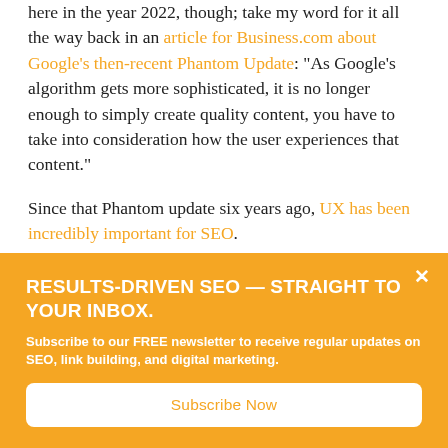here in the year 2022, though; take my word for it all the way back in an article for Business.com about Google's then-recent Phantom Update: “As Google’s algorithm gets more sophisticated, it is no longer enough to simply create quality content, you have to take into consideration how the user experiences that content.”
Since that Phantom update six years ago, UX has been incredibly important for SEO.
RESULTS-DRIVEN SEO — STRAIGHT TO YOUR INBOX.
Subscribe to our FREE newsletter to receive regular updates on SEO, link building, and digital marketing.
Subscribe Now